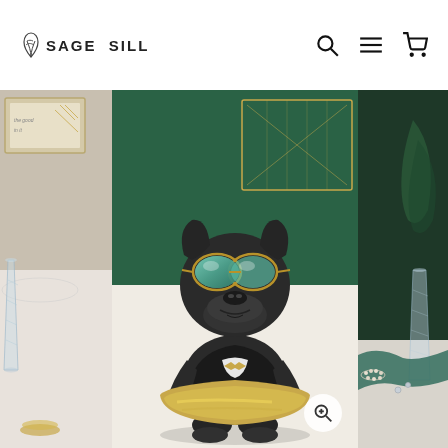[Figure (logo): Sage & Sill logo with leaf/plant icon and brand name in uppercase letters]
[Figure (screenshot): E-commerce product page screenshot showing a black French Bulldog statue wearing sunglasses and a gold bow tie, holding a gold tray. Three-image carousel strip with left partial image showing glass and gold items on marble surface, center main product image on green/dark background, and right partial image showing jewelry and glass. Zoom magnifier button in bottom-right of center image.]